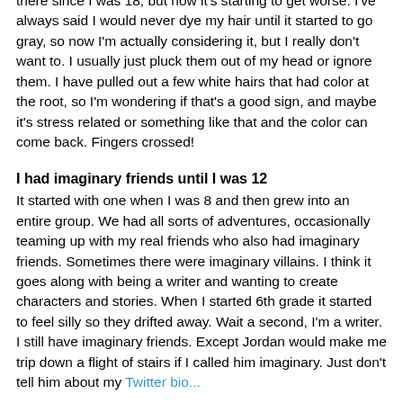there since I was 18, but now it's starting to get worse. I've always said I would never dye my hair until it started to go gray, so now I'm actually considering it, but I really don't want to. I usually just pluck them out of my head or ignore them. I have pulled out a few white hairs that had color at the root, so I'm wondering if that's a good sign, and maybe it's stress related or something like that and the color can come back. Fingers crossed!
I had imaginary friends until I was 12
It started with one when I was 8 and then grew into an entire group. We had all sorts of adventures, occasionally teaming up with my real friends who also had imaginary friends. Sometimes there were imaginary villains. I think it goes along with being a writer and wanting to create characters and stories. When I started 6th grade it started to feel silly so they drifted away. Wait a second, I'm a writer. I still have imaginary friends. Except Jordan would make me trip down a flight of stairs if I called him imaginary. Just don't tell him about my Twitter bio...
I used to act